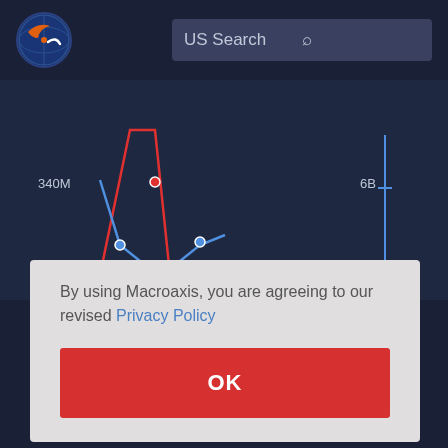[Figure (logo): Macroaxis globe logo — dark blue circle with orange and white design]
US Search
[Figure (line-chart): Time series line chart showing financial data with a red line and a blue line. Y-axis label '340M' on left, '6B' on right. X-axis shows years 2015 and 2020. Red line spikes up then comes down, blue line dips down forming a U-shape with data points marked as circles.]
Current Liabilities, total: 5.8B
By using Macroaxis, you are agreeing to our revised Privacy Policy
OK